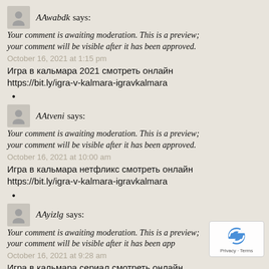AAwabdk says:
Your comment is awaiting moderation. This is a preview; your comment will be visible after it has been approved.
October 16, 2021 at 1:15 pm
Игра в кальмара 2021 смотреть онлайн https://bit.ly/igra-v-kalmara-igravkalmara
•
AAtveni says:
Your comment is awaiting moderation. This is a preview; your comment will be visible after it has been approved.
October 16, 2021 at 10:00 am
Игра в кальмара нетфликс смотреть онлайн https://bit.ly/igra-v-kalmara-igravkalmara
•
AAyizlg says:
Your comment is awaiting moderation. This is a preview; your comment will be visible after it has been app
October 16, 2021 at 9:28 am
Игра в кальмара сериал смотреть онлайн https://bit.ly/igra-v-kalmara-igravkalmara